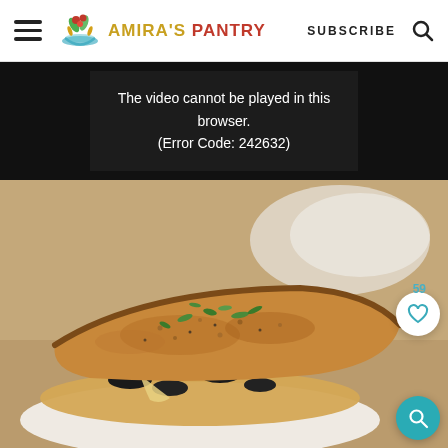Amira's Pantry — SUBSCRIBE
[Figure (screenshot): Video player error message on dark background: 'The video cannot be played in this browser. (Error Code: 242632)']
The video cannot be played in this browser. (Error Code: 242632)
[Figure (photo): Close-up food photo of a grilled/toasted sandwich with melted cheese, black olives, and green herbs on top, on a white plate. Like (heart) button with count 59 and teal search button overlaid on right side.]